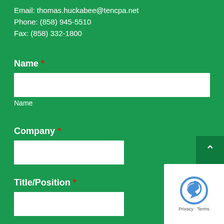Email: thomas.huckabee@tencpa.net
Phone: (858) 945-5510
Fax: (858) 332-1800
Name *
Name
Company *
Title/Position *